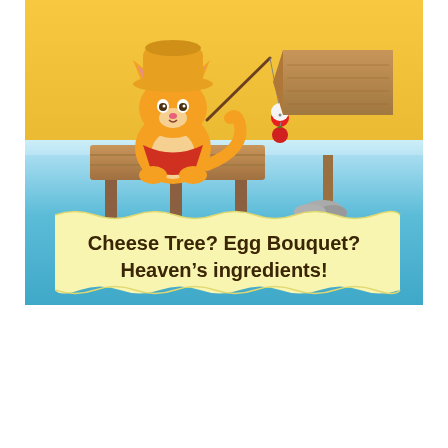[Figure (illustration): Cartoon illustration showing an orange tabby cat wearing a yellow hat and red bandana, sitting on a wooden dock fishing with a rod and bobber. A wooden directional sign on rocks is visible to the right. Background shows sand/sky above and blue water below. A yellow banner at the bottom of the illustration reads: Cheese Tree? Egg Bouquet? Heaven's ingredients!]
Cheese Tree? Egg Bouquet? Heaven's ingredients!